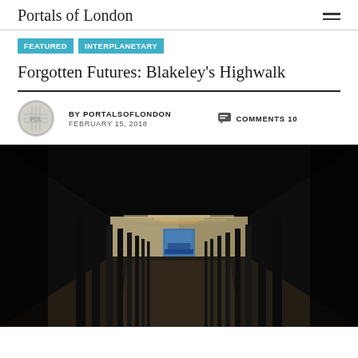Portals of London
FEATURED
INTERPLANETARY
Forgotten Futures: Blakeley's Highwalk
BY PORTALSOFLONDON  FEBRUARY 15, 2018   COMMENTS 10
[Figure (photo): Dark corridor/highwalk passage with receding perspective, fluorescent ceiling lights, black columns on either side, and a bright blue-lit exit at the far end.]